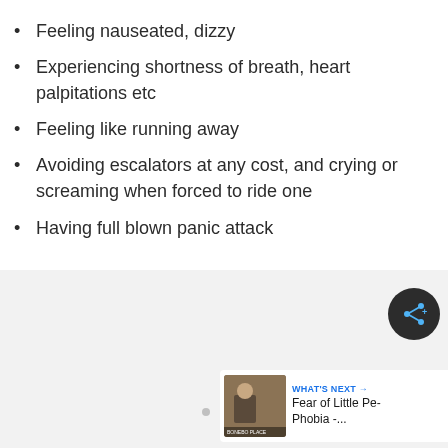Feeling nauseated, dizzy
Experiencing shortness of breath, heart palpitations etc
Feeling like running away
Avoiding escalators at any cost, and crying or screaming when forced to ride one
Having full blown panic attack
[Figure (screenshot): Share button (dark circular icon with share symbol) and a 'What's Next' recommendation card showing 'Fear of Little Pe... Phobia -...' with a thumbnail image]